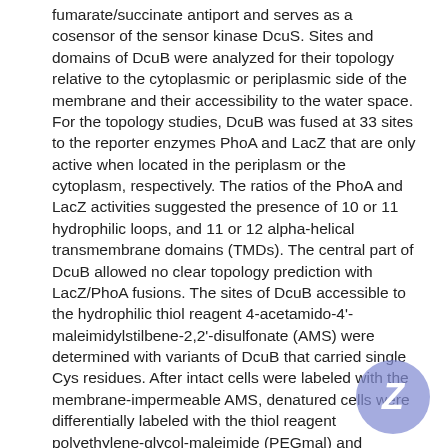fumarate/succinate antiport and serves as a cosensor of the sensor kinase DcuS. Sites and domains of DcuB were analyzed for their topology relative to the cytoplasmic or periplasmic side of the membrane and their accessibility to the water space. For the topology studies, DcuB was fused at 33 sites to the reporter enzymes PhoA and LacZ that are only active when located in the periplasm or the cytoplasm, respectively. The ratios of the PhoA and LacZ activities suggested the presence of 10 or 11 hydrophilic loops, and 11 or 12 alpha-helical transmembrane domains (TMDs). The central part of DcuB allowed no clear topology prediction with LacZ/PhoA fusions. The sites of DcuB accessible to the hydrophilic thiol reagent 4-acetamido-4'-maleimidylstilbene-2,2'-disulfonate (AMS) were determined with variants of DcuB that carried single Cys residues. After intact cells were labeled with the membrane-impermeable AMS, denatured cells were differentially labeled with the thiol reagent polyethylene-glycol-maleimide (PEGmal) and analyzed for a mass shift. From 35 positions 17 were accessible to AMS in intact bacteria. The model derived from topology and accessibility suggests 12 TMDs for DcuB and a waterfilled cavity in its central part. The cavity ends with a cytoplasmic lid accessible to AMS from the periplasmic side. The sensory domain of DcuB is composed of cytoplasmic loop XI/XII and a membrane integral region with the regulatory residues Thr396/Asp398 and Lys353.